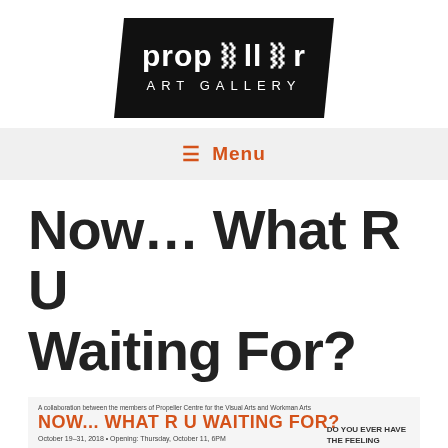[Figure (logo): Propeller Art Gallery logo — black trapezoid/parallelogram shape with white text reading 'propeller' and 'ART GALLERY']
≡ Menu
Now… What R U Waiting For?
[Figure (illustration): Promotional poster image for 'Now... What R U Waiting For?' — a collaboration between Propeller Centre for the Visual Arts and Workman Arts. Orange title text on light background with small subtitle text and 'DO YOU EVER HAVE THE FEELING' text on right side.]